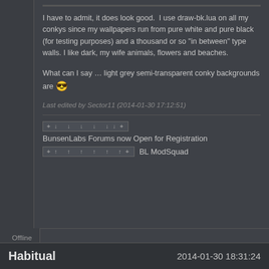I have to admit, it does look good.  I use draw-bk.lua on all my conkys since my wallpapers run from pure white and pure black (for testing purposes) and a thousand or so "in between" type walls. I like dark, my wife animals, flowers and beaches.
What can I say … light grey semi-transparent conky backgrounds are 😎
Last edited by Sector11 (2014-01-30 17:12:51)
BunsenLabs Forums now Open for Registration
Offline
Habitual
2014-01-30 18:31:24